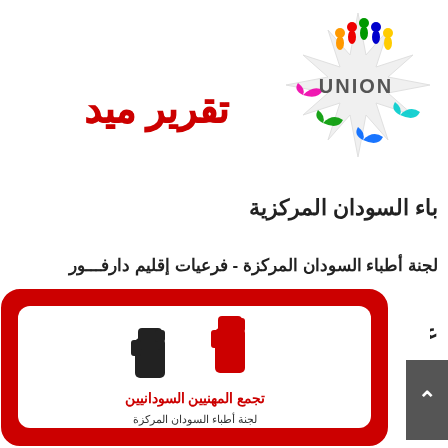[Figure (logo): Colorful union logo with people silhouettes and birds in multiple colors, with the text UNION in dark gray]
تقرير ميد
باء السودان المركزية
لجنة أطباء السودان المركزة - فرعيات إقليم دارفـــور
[Figure (illustration): Small broken image icon placeholder]
عاجل
[Figure (logo): Red and white shield logo with Arabic text and raised fists graphic representing Sudanese doctors union]